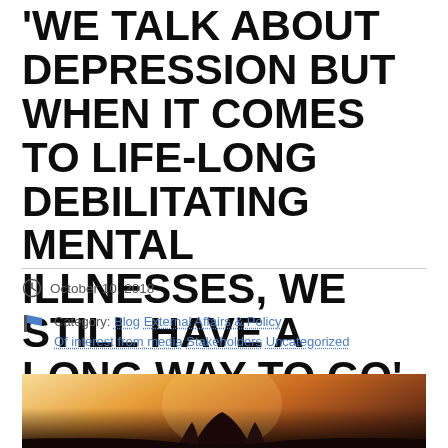'WE TALK ABOUT DEPRESSION BUT WHEN IT COMES TO LIFE-LONG DEBILITATING MENTAL ILLNESSES, WE STILL HAVE A LONG WAY TO GO'
October 10, 2018
Category: Blog External Affairs & Policy Of interest from media Stakeholders Uncategorized
[Figure (photo): Silhouette of a person against a warm golden sunset sky]